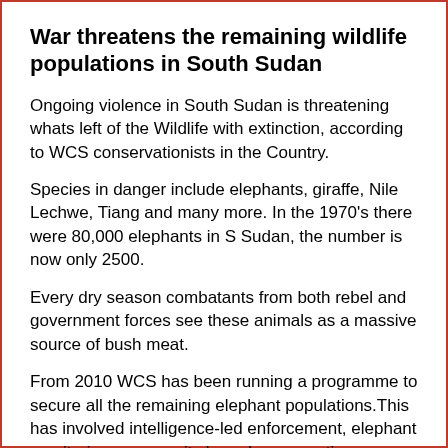War threatens the remaining wildlife populations in South Sudan
Ongoing violence in South Sudan is threatening whats left of the Wildlife with extinction, according to WCS conservationists in the Country.
Species in danger include elephants, giraffe, Nile Lechwe, Tiang and many more. In the 1970's there were 80,000 elephants in S Sudan, the number is now only 2500.
Every dry season combatants from both rebel and government forces see these animals as a massive source of bush meat.
From 2010 WCS has been running a programme to secure all the remaining elephant populations.This has involved intelligence-led enforcement, elephant monitoring, community based conservation partnerships and Protected Area management.